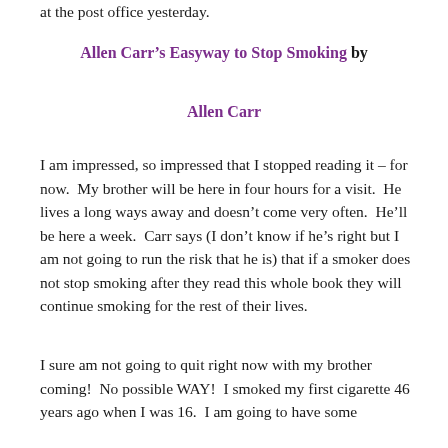at the post office yesterday.
Allen Carr’s Easyway to Stop Smoking by Allen Carr
I am impressed, so impressed that I stopped reading it – for now.  My brother will be here in four hours for a visit.  He lives a long ways away and doesn’t come very often.  He’ll be here a week.  Carr says (I don’t know if he’s right but I am not going to run the risk that he is) that if a smoker does not stop smoking after they read this whole book they will continue smoking for the rest of their lives.
I sure am not going to quit right now with my brother coming!  No possible WAY!  I smoked my first cigarette 46 years ago when I was 16.  I am going to have some